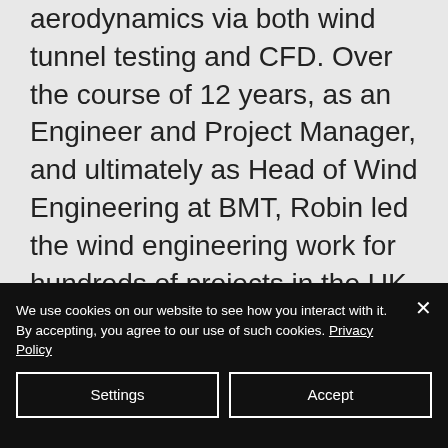aerodynamics via both wind tunnel testing and CFD. Over the course of 12 years, as an Engineer and Project Manager, and ultimately as Head of Wind Engineering at BMT, Robin led the wind engineering work for hundreds of projects in the UK and internationally.
Some favourites include ‘The Scalpel’ and Manhattan Loft Gardens, both in London, the 2012 Olympic Masterplan, Mercedes-Benz Stadium in Atlanta, the National Museum of Qatar and latterly,
We use cookies on our website to see how you interact with it. By accepting, you agree to our use of such cookies. Privacy Policy
Settings
Accept